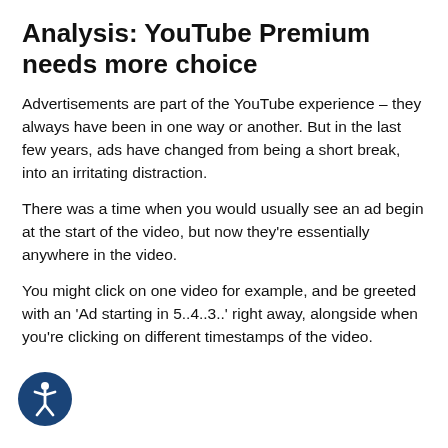Analysis: YouTube Premium needs more choice
Advertisements are part of the YouTube experience – they always have been in one way or another. But in the last few years, ads have changed from being a short break, into an irritating distraction.
There was a time when you would usually see an ad begin at the start of the video, but now they're essentially anywhere in the video.
You might click on one video for example, and be greeted with an 'Ad starting in 5..4..3..' right away, alongside when you're clicking on different timestamps of the video.
[Figure (illustration): Accessibility icon: a circular dark blue button with a white stick figure person (accessibility symbol) in the center.]